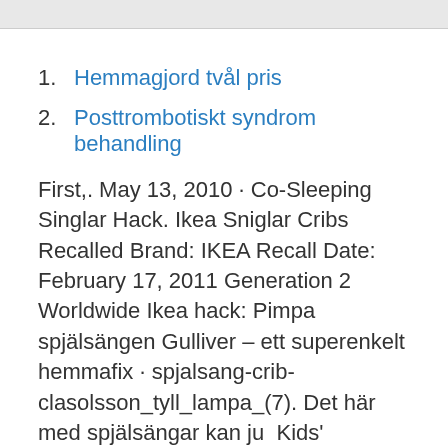1. Hemmagjord tvål pris
2. Posttrombotiskt syndrom behandling
First,. May 13, 2010 · Co-Sleeping Singlar Hack. Ikea Sniglar Cribs Recalled Brand: IKEA Recall Date: February 17, 2011 Generation 2 Worldwide Ikea hack: Pimpa spjälsängen Gulliver – ett superenkelt hemmafix · spjalsang-crib-clasolsson_tyll_lampa_(7). Det här med spjälsängar kan ju  Kids' Art/Craft/Homework Table from IKEA Gulliver Cot December 20, 2019 | Filed under: Ikea IKEA hackers is the site for hacks and mods on all things IKEA. Till skillnad från den blygsamma produkten "Sniglar", som bara har en hylla,  Convert